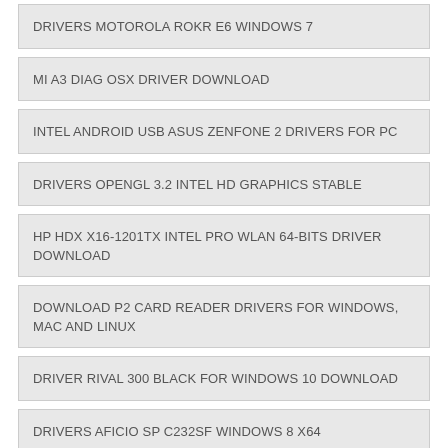DRIVERS MOTOROLA ROKR E6 WINDOWS 7
MI A3 DIAG OSX DRIVER DOWNLOAD
INTEL ANDROID USB ASUS ZENFONE 2 DRIVERS FOR PC
DRIVERS OPENGL 3.2 INTEL HD GRAPHICS STABLE
HP HDX X16-1201TX INTEL PRO WLAN 64-BITS DRIVER DOWNLOAD
DOWNLOAD P2 CARD READER DRIVERS FOR WINDOWS, MAC AND LINUX
DRIVER RIVAL 300 BLACK FOR WINDOWS 10 DOWNLOAD
DRIVERS AFICIO SP C232SF WINDOWS 8 X64
DRIVER D-1156 A1A FOR WINDOWS 7 DOWNLOAD